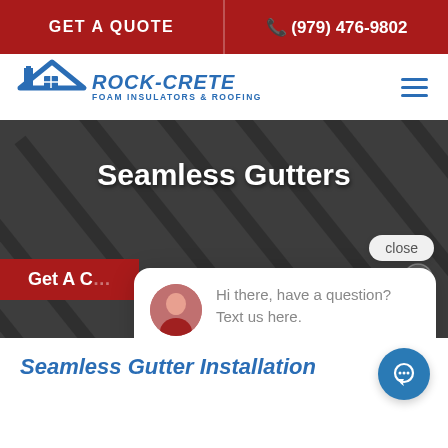GET A QUOTE | (979) 476-9802
[Figure (logo): Rock-Crete Foam Insulators & Roofing logo with house/chimney icon in blue]
[Figure (screenshot): Hero banner with 'Seamless Gutters' title on dark grey background with diagonal lines, Get A Quote button, close button, chat popup with avatar and message 'Hi there, have a question? Text us here.', and chat icon]
Seamless Gutter Installation